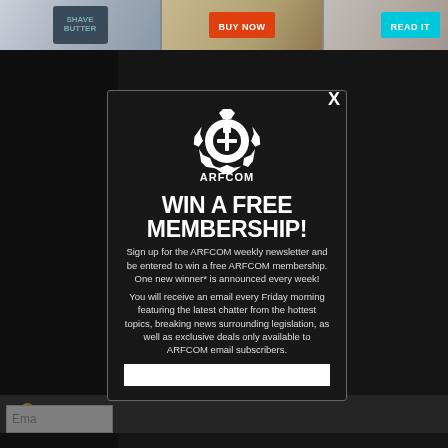[Figure (screenshot): Top advertisement banner strip with three ad panels: a shaving/grooming product on left, a middle ad with BUY NOW button, and a right panel with READ IT button]
[Figure (screenshot): ARFCOM website modal popup overlay with dark background. Contains ARFCOM gear logo, WIN A FREE MEMBERSHIP! headline, signup description text, newsletter benefits text, and email input field at the bottom. Close X button in top right corner.]
WIN A FREE MEMBERSHIP!
Sign up for the ARFCOM weekly newsletter and be entered to win a free ARFCOM membership. One new winner* is announced every week!
You will receive an email every Friday morning featuring the latest chatter from the hottest topics, breaking news surrounding legislation, as well as exclusive deals only available to ARFCOM email subscribers.